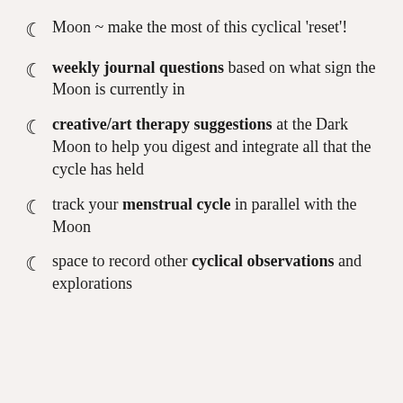Moon ~ make the most of this cyclical 'reset'!
weekly journal questions based on what sign the Moon is currently in
creative/art therapy suggestions at the Dark Moon to help you digest and integrate all that the cycle has held
track your menstrual cycle in parallel with the Moon
space to record other cyclical observations and explorations